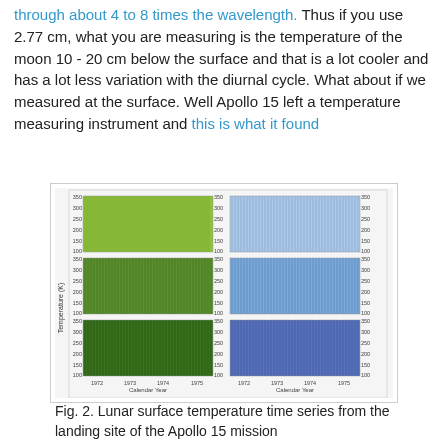through about 4 to 8 times the wavelength. Thus if you use 2.77 cm, what you are measuring is the temperature of the moon 10 - 20 cm below the surface and that is a lot cooler and has a lot less variation with the diurnal cycle. What about if we measured at the surface. Well Apollo 15 left a temperature measuring instrument and this is what it found
[Figure (continuous-plot): A 3x2 grid of time series plots showing lunar surface temperature (K) from 1972 to 1975 measured at the Apollo 15 landing site. Left column panels show green-colored data; right column panels show blue-colored data. Y-axis ranges from 100 to 350 K. X-axis shows Calendar Year from 1972 to 1975. Y-axis label is Temperature (K).]
Fig. 2. Lunar surface temperature time series from the landing site of the Apollo 15 mission